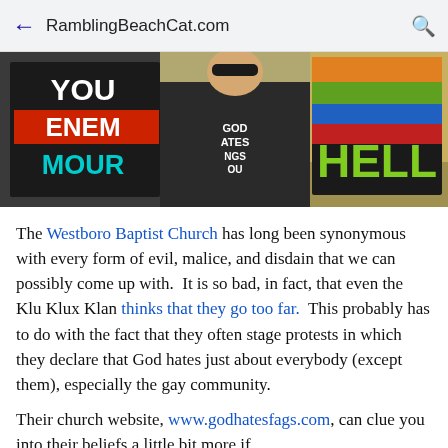RamblingBeachCat.com
[Figure (photo): Woman holding protest signs including 'YOUR ENEMY', 'MOURN', 'HELL' and wearing a shirt with text, at an outdoor protest]
The Westboro Baptist Church has long been synonymous with every form of evil, malice, and disdain that we can possibly come up with.  It is so bad, in fact, that even the Klu Klux Klan thinks that they go too far.  This probably has to do with the fact that they often stage protests in which they declare that God hates just about everybody (except them), especially the gay community.
Their church website, www.godhatesfags.com, can clue you into their beliefs a little bit more if